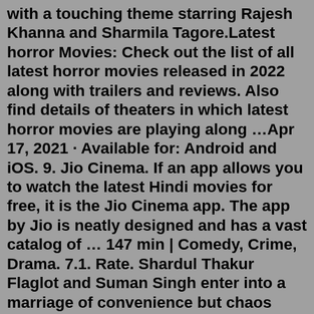with a touching theme starring Rajesh Khanna and Sharmila Tagore.Latest horror Movies: Check out the list of all latest horror movies released in 2022 along with trailers and reviews. Also find details of theaters in which latest horror movies are playing along ...Apr 17, 2021 · Available for: Android and iOS. 9. Jio Cinema. If an app allows you to watch the latest Hindi movies for free, it is the Jio Cinema app. The app by Jio is neatly designed and has a vast catalog of ... 147 min | Comedy, Crime, Drama. 7.1. Rate. Shardul Thakur Flaglot and Suman Singh enter into a marriage of convenience but chaos ensues when her unhinged girlfriend comes to stay with them. Director: Harshavardhan Kulkarni | Stars: Rajkummar Rao, Bhumi Pednekar, Subhankar Bagchi, Chum Darang.List of all latest 2017 Bollywood Movies and all information of Hindi Movies released in 2017 - A complete update of all released and upcoming films of 2017. ... A young and free-spirited journalist's life takes a 360 turn when she gets into a dangerous investigation for a